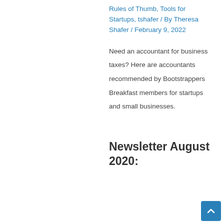Rules of Thumb, Tools for Startups, tshafer / By Theresa Shafer / February 9, 2022
Need an accountant for business taxes? Here are accountants recommended by Bootstrappers Breakfast members for startups and small businesses.
Newsletter August 2020: